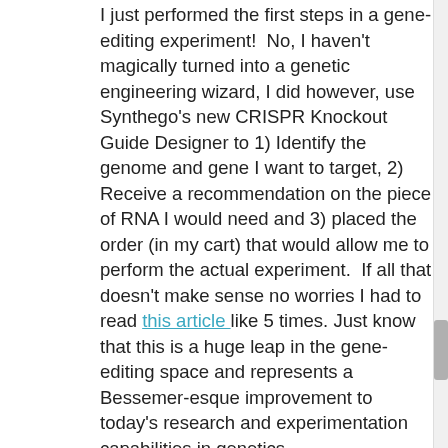I just performed the first steps in a gene-editing experiment! No, I haven't magically turned into a genetic engineering wizard, I did however, use Synthego's new CRISPR Knockout Guide Designer to 1) Identify the genome and gene I want to target, 2) Receive a recommendation on the piece of RNA I would need and 3) placed the order (in my cart) that would allow me to perform the actual experiment. If all that doesn't make sense no worries I had to read this article like 5 times. Just know that this is a huge leap in the gene-editing space and represents a Bessemer-esque improvement to today's research and experimentation capabilities in genetics.
It's been a busy few weeks, so apologies for leaving you hanging, but seriously, what is going on! Self-proclaimed healthcare disruptor Athena Health is being disrupted a bit, fake med-devices dupe hackers and we found some sweet resources to get your creative juices flowing.